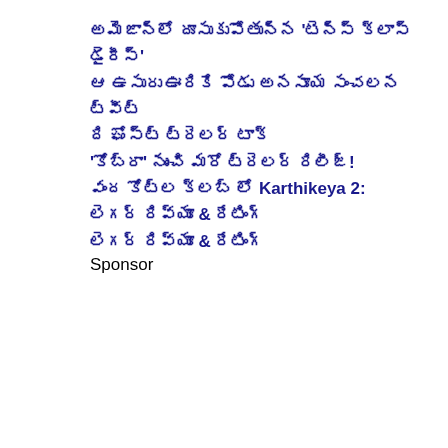అమెజాన్‌లో దూసుకుపోతున్న 'టెన్స్ క్లాస్ డైరీస్'
ఆ ఉసురు ఊరికే పోడు అనసూయ సంచలన ట్వీట్
ది ఘోస్ట్ ట్రెలర్ టాక్
'కోబ్రా' నుంచి మరో ట్రెలర్ రిలీజ్!
వంద కోట్ల క్లబ్ లో Karthikeya 2:
లెగర్ రివ్యూ & రేటింగ్
లెగర్ రివ్యూ & రేటింగ్
Sponsor